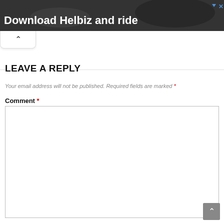[Figure (photo): Advertisement banner with dark background showing a person on a scooter. Text reads 'Download Helbiz and ride'. Play and close buttons visible in top right.]
Your email address will not be published. Required fields are marked *
LEAVE A REPLY
Your email address will not be published. Required fields are marked *
Comment *